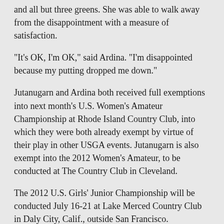and all but three greens. She was able to walk away from the disappointment with a measure of satisfaction.
"It's OK, I'm OK," said Ardina. "I'm disappointed because my putting dropped me down."
Jutanugarn and Ardina both received full exemptions into next month's U.S. Women's Amateur Championship at Rhode Island Country Club, into which they were both already exempt by virtue of their play in other USGA events. Jutanugarn is also exempt into the 2012 Women's Amateur, to be conducted at The Country Club in Cleveland.
The 2012 U.S. Girls' Junior Championship will be conducted July 16-21 at Lake Merced Country Club in Daly City, Calif., outside San Francisco.
The U.S. Girls' Junior is one of 13 championships conducted annually by the United States Golf Association, 10 of which are strictly for amateurs.